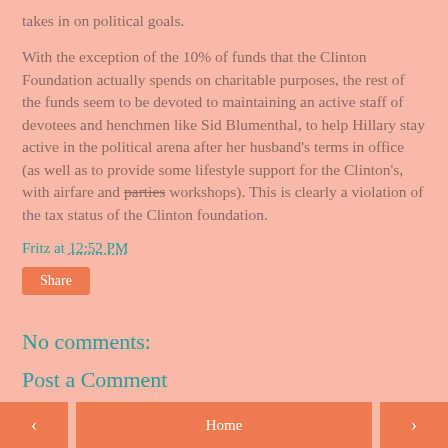takes in on political goals.
With the exception of the 10% of funds that the Clinton Foundation actually spends on charitable purposes, the rest of the funds seem to be devoted to maintaining an active staff of devotees and henchmen like Sid Blumenthal, to help Hillary stay active in the political arena after her husband's terms in office (as well as to provide some lifestyle support for the Clinton's, with airfare and parties workshops). This is clearly a violation of the tax status of the Clinton foundation.
Fritz at 12:52 PM
Share
No comments:
Post a Comment
< Home >